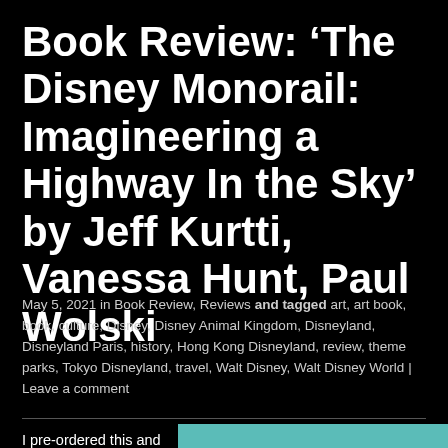Book Review: ‘The Disney Monorail: Imagineering a Highway In the Sky’ by Jeff Kurtti, Vanessa Hunt, Paul Wolski
May 5, 2021 in Book Review, Reviews and tagged art, art book, book, culture, Disney, Disney Animal Kingdom, Disneyland, Disneyland Paris, history, Hong Kong Disneyland, review, theme parks, Tokyo Disneyland, travel, Walt Disney, Walt Disney World | Leave a comment
[Figure (illustration): Stylized illustration of a Disney monorail train, white and red with dark blue windows, on a teal/turquoise background with light blue water/sky below.]
I pre-ordered this and got it late last year. It sort of got lost in the shuffle of my stack of books needing to be read